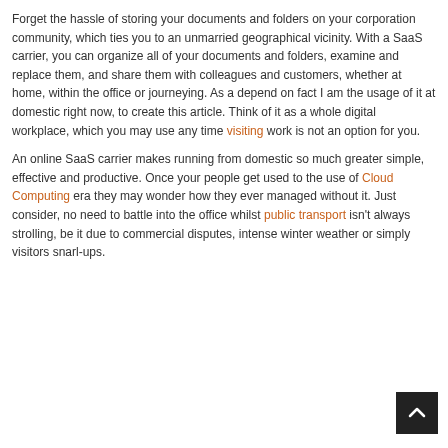Forget the hassle of storing your documents and folders on your corporation community, which ties you to an unmarried geographical vicinity. With a SaaS carrier, you can organize all of your documents and folders, examine and replace them, and share them with colleagues and customers, whether at home, within the office or journeying. As a depend on fact I am the usage of it at domestic right now, to create this article. Think of it as a whole digital workplace, which you may use any time visiting work is not an option for you.
An online SaaS carrier makes running from domestic so much greater simple, effective and productive. Once your people get used to the use of Cloud Computing era they may wonder how they ever managed without it. Just consider, no need to battle into the office whilst public transport isn't always strolling, be it due to commercial disputes, intense winter weather or simply visitors snarl-ups.